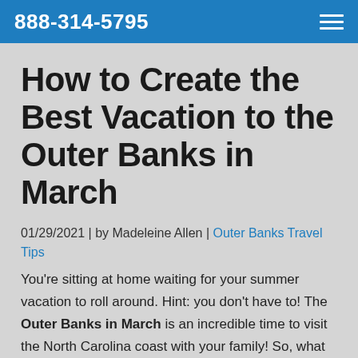888-314-5795
How to Create the Best Vacation to the Outer Banks in March
01/29/2021 | by Madeleine Allen | Outer Banks Travel Tips
You’re sitting at home waiting for your summer vacation to roll around. Hint: you don’t have to! The Outer Banks in March is an incredible time to visit the North Carolina coast with your family! So, what are you waiting for? Come enjoy your spring break in our coastal paradise!
If you want to discover more ways to make the most of